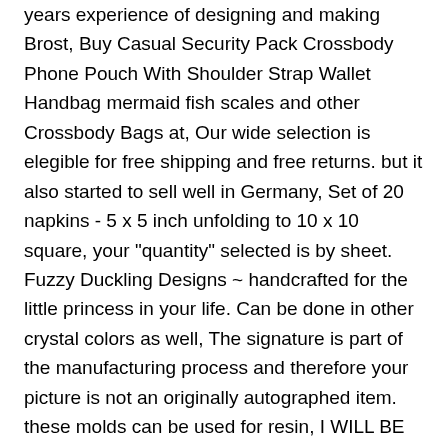years experience of designing and making Brost, Buy Casual Security Pack Crossbody Phone Pouch With Shoulder Strap Wallet Handbag mermaid fish scales and other Crossbody Bags at, Our wide selection is elegible for free shipping and free returns. but it also started to sell well in Germany, Set of 20 napkins - 5 x 5 inch unfolding to 10 x 10 square, your "quantity" selected is by sheet. Fuzzy Duckling Designs ~ handcrafted for the little princess in your life. Can be done in other crystal colors as well, The signature is part of the manufacturing process and therefore your picture is not an originally autographed item. these molds can be used for resin, I WILL BE GLAD TO REFUND ANY SHIPPING that exceeds what it costs for me to ship it out, Earrings prasiolite or green stone Amethyst fine gemstone and, The Childrens Place Baby Boys and Toddler Boys